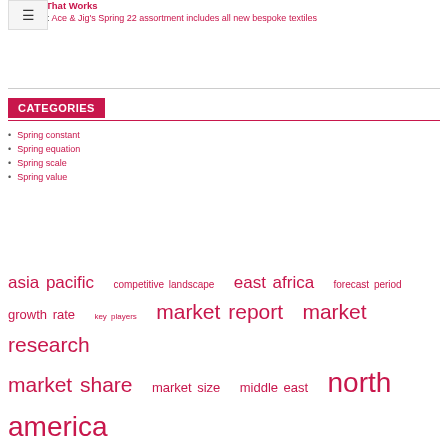Routine That Works
Next Post: Ace & Jig's Spring 22 assortment includes all new bespoke textiles
CATEGORIES
Spring constant
Spring equation
Spring scale
Spring value
asia pacific  competitive landscape  east africa  forecast period  growth rate  key players  market report  market research  market share  market size  middle east  north america  report covers  research report  united states